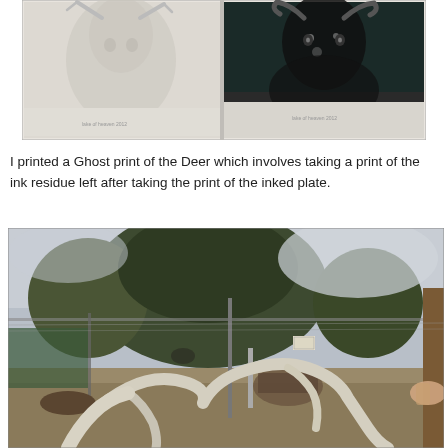[Figure (photo): Two deer artworks side by side: left is a light/ghost print of a deer's head in pale grey tones, right is a darker detailed inked print of a deer head with antlers in black and white.]
I printed a Ghost print of the Deer which involves taking a print of the ink residue left after taking the print of the inked plate.
[Figure (photo): Outdoor photograph of a deer enclosure with large trees in the background, a fence with wire mesh, and in the foreground large curved antlers of a deer lying down or close to the ground, with a person's hand visible on the right side near a wooden post.]